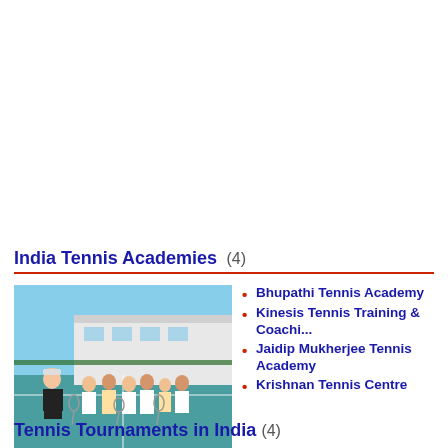India Tennis Academies (4)
[Figure (photo): Group photo at Sania Mirza Tennis Academy showing a coach with children holding tennis rackets on a court]
Sania Mirza Tennis Academy
Bhupathi Tennis Academy
Kinesis Tennis Training & Coachi...
Jaidip Mukherjee Tennis Academy
Krishnan Tennis Centre
Tennis Tournaments in India (4)